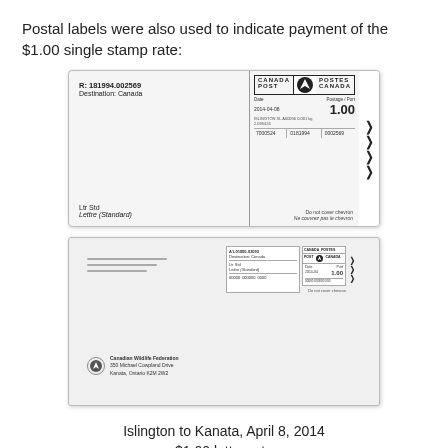Postal labels were also used to indicate payment of the $1.00 single stamp rate:
[Figure (photo): Canada Post postal label showing R:181994.002569, Destination: Canada, date 2014-04-08, postage 1.00, Ltr Std / Lettre (Standard), barcode numbers 7000524 0181994 0002569, with Canada Post logo and chevrons.]
[Figure (photo): Envelope showing Canada Post postal label affixed, addressed to Canadian Wildlife Federation, 350 Michael Cowpland Drive, Kanata, Ontario K2M 2W2, with return address lines and Canada Post meter stamp showing $1.00.]
Islington to Kanata, April 8, 2014
$1.00 letter rate